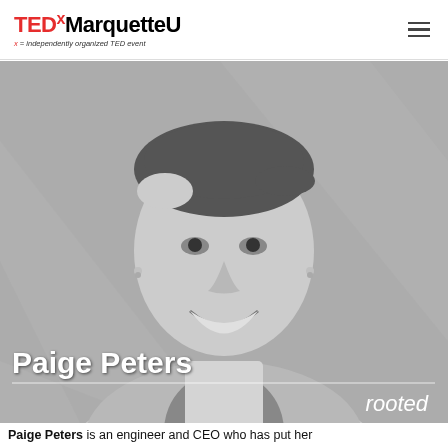TEDx MarquetteU — x = independently organized TED event
[Figure (photo): Black and white portrait photo of Paige Peters, smiling woman in blazer and patterned top, with overlaid name 'Paige Peters', a horizontal white divider line, and the word 'rooted' in italic white text at lower right. Background features a subtle X watermark pattern.]
Paige Peters is an engineer and CEO who has put her